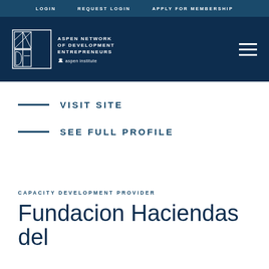LOGIN   REQUEST LOGIN   APPLY FOR MEMBERSHIP
[Figure (logo): ANDE - Aspen Network of Development Entrepreneurs / Aspen Institute logo, white on dark navy background with hamburger menu icon]
VISIT SITE
SEE FULL PROFILE
CAPACITY DEVELOPMENT PROVIDER
Fundacion Haciendas del